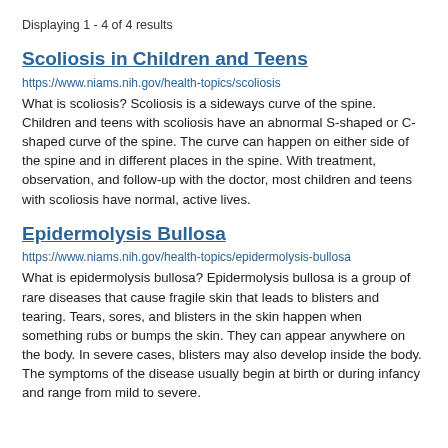Displaying 1 - 4 of 4 results
Scoliosis in Children and Teens
https://www.niams.nih.gov/health-topics/scoliosis
What is scoliosis? Scoliosis is a sideways curve of the spine. Children and teens with scoliosis have an abnormal S-shaped or C-shaped curve of the spine. The curve can happen on either side of the spine and in different places in the spine. With treatment, observation, and follow-up with the doctor, most children and teens with scoliosis have normal, active lives.
Epidermolysis Bullosa
https://www.niams.nih.gov/health-topics/epidermolysis-bullosa
What is epidermolysis bullosa? Epidermolysis bullosa is a group of rare diseases that cause fragile skin that leads to blisters and tearing. Tears, sores, and blisters in the skin happen when something rubs or bumps the skin. They can appear anywhere on the body. In severe cases, blisters may also develop inside the body. The symptoms of the disease usually begin at birth or during infancy and range from mild to severe.